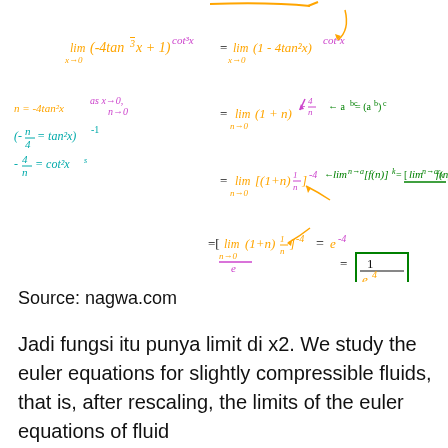[Figure (other): Handwritten mathematical derivation showing limit calculations with tan and cot functions, substitution n = -4tan²x, and evaluation leading to e^(-4) = 1/e^4. Uses multiple colors (orange, green, magenta/pink, teal).]
Source: nagwa.com
Jadi fungsi itu punya limit di x2. We study the euler equations for slightly compressible fluids, that is, after rescaling, the limits of the euler equations of fluid